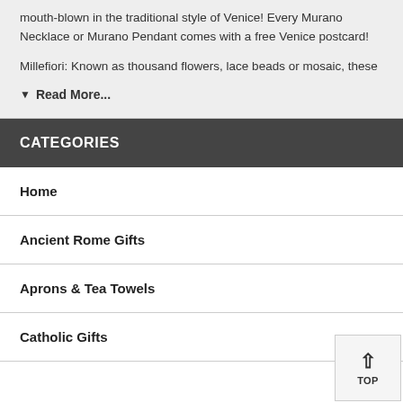mouth-blown in the traditional style of Venice! Every Murano Necklace or Murano Pendant comes with a free Venice postcard!
Millefiori: Known as thousand flowers, lace beads or mosaic, these
▼ Read More...
CATEGORIES
Home
Ancient Rome Gifts
Aprons & Tea Towels
Catholic Gifts